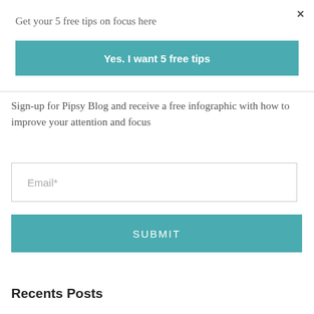×
Get your 5 free tips on focus here
[Figure (other): Teal button labeled 'Yes. I want 5 free tips']
Sign-up for Pipsy Blog and receive a free infographic with how to improve your attention and focus
[Figure (other): Email input field with placeholder 'Email*']
[Figure (other): Teal submit button labeled 'SUBMIT']
Recents Posts